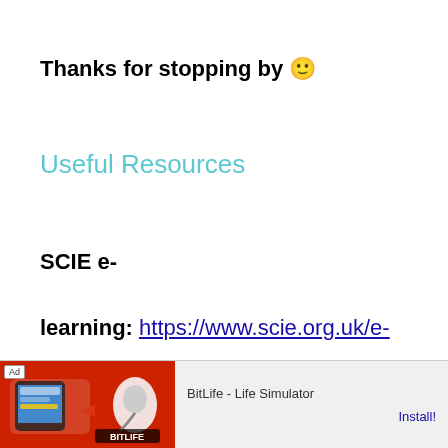Thanks for stopping by 🙂
Useful Resources
SCIE e-learning: https://www.scie.org.uk/e-learning/?gclid=CjwKCAjw88v3BRBFEiwApwLevOW9sMJNS8-
[Figure (infographic): Mobile advertisement banner for BitLife - Life Simulator app with red background, ad label, and Install button]